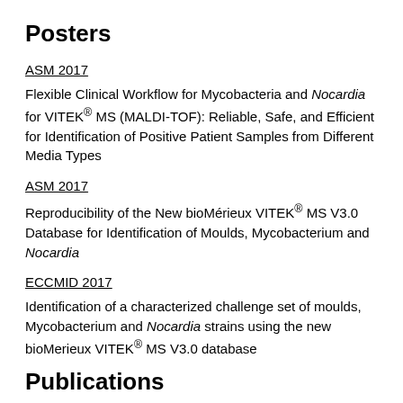Posters
ASM 2017
Flexible Clinical Workflow for Mycobacteria and Nocardia for VITEK® MS (MALDI-TOF): Reliable, Safe, and Efficient for Identification of Positive Patient Samples from Different Media Types
ASM 2017
Reproducibility of the New bioMérieux VITEK® MS V3.0 Database for Identification of Moulds, Mycobacterium and Nocardia
ECCMID 2017
Identification of a characterized challenge set of moulds, Mycobacterium and Nocardia strains using the new bioMerieux VITEK® MS V3.0 database
Publications